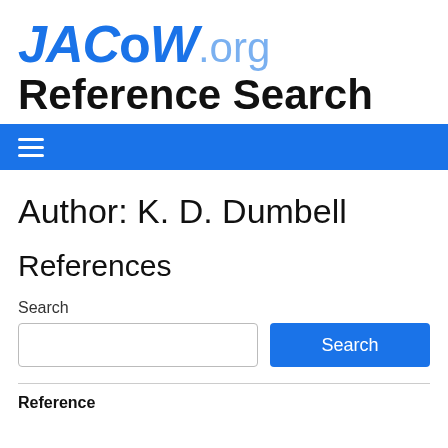JACoW.org Reference Search
Author: K. D. Dumbell
References
Search
Reference